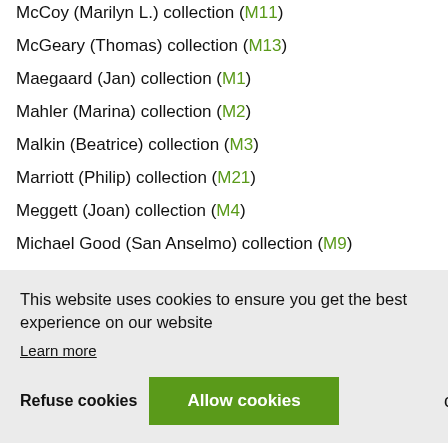McCoy (Marilyn L.) collection (M11)
McGeary (Thomas) collection (M13)
Maegaard (Jan) collection (M1)
Mahler (Marina) collection (M2)
Malkin (Beatrice) collection (M3)
Marriott (Philip) collection (M21)
Meggett (Joan) collection (M4)
Michael Good (San Anselmo) collection (M9)
Mikl (Josef) collection (M19)
This website uses cookies to ensure you get the best experience on our website
Learn more
Refuse cookies   Allow cookies   on
Münchner Stadtbibliothek (M16)